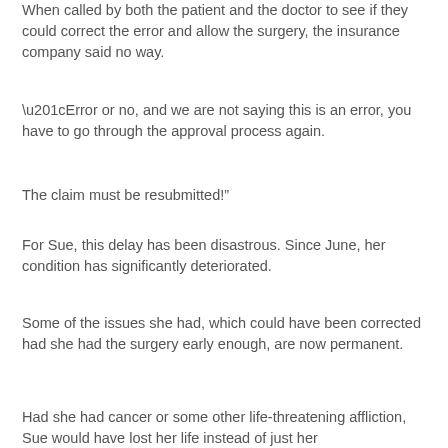When called by both the patient and the doctor to see if they could correct the error and allow the surgery, the insurance company said no way.
“Error or no, and we are not saying this is an error, you have to go through the approval process again.
The claim must be resubmitted!”
For Sue, this delay has been disastrous.  Since June, her condition has significantly deteriorated.
Some of the issues she had, which could have been corrected had she had the surgery early enough, are now permanent.
Had she had cancer or some other life-threatening affliction, Sue would have lost her life instead of just her